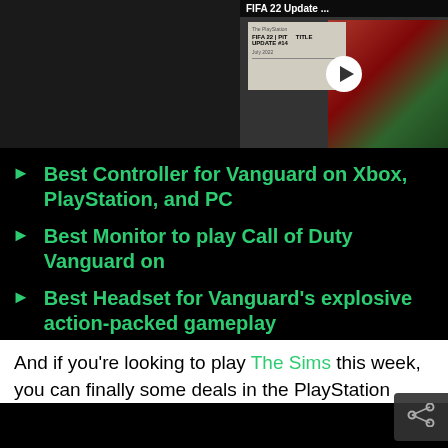[Figure (screenshot): Video thumbnail showing FIFA 22 Update title with a play button overlay and soccer/football background imagery]
Best Controller for Vanguard on Xbox, PlayStation, and PC
Best Monitor to play Call of Duty Vanguard on
Best Headset for Vanguard's explosive action-packed gameplay
And if you're looking to play The Sims this week, you can finally some deals in the PlayStation